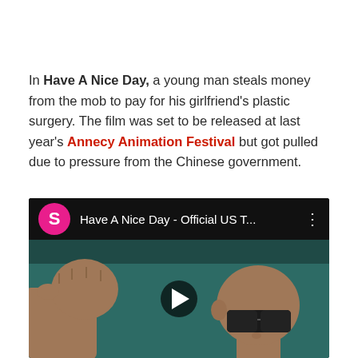In Have A Nice Day, a young man steals money from the mob to pay for his girlfriend's plastic surgery. The film was set to be released at last year's Annecy Animation Festival but got pulled due to pressure from the Chinese government.
[Figure (screenshot): YouTube video embed showing 'Have A Nice Day - Official US T...' with a pink S avatar icon, three-dot menu, and animated scene of a bald man with sunglasses and a fist, with a play button overlay. Background is dark teal.]